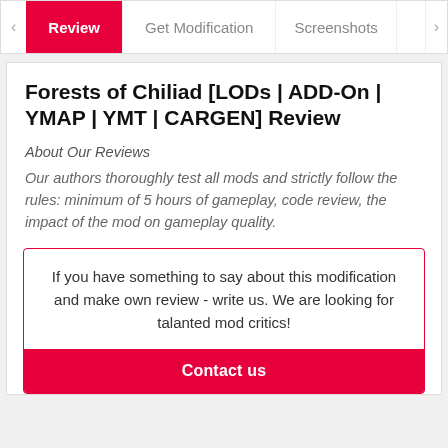Review | Get Modification | Screenshots
Forests of Chiliad [LODs | ADD-On | YMAP | YMT | CARGEN] Review
About Our Reviews
Our authors thoroughly test all mods and strictly follow the rules: minimum of 5 hours of gameplay, code review, the impact of the mod on gameplay quality.
If you have something to say about this modification and make own review - write us. We are looking for talanted mod critics!
Contact us